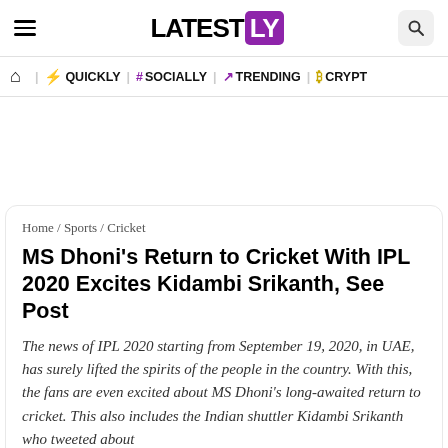LATESTLY
Home / QUICKLY / # SOCIALLY / TRENDING / CRYPTO
MS Dhoni's Return to Cricket With IPL 2020 Excites Kidambi Srikanth, See Post
Home / Sports / Cricket
The news of IPL 2020 starting from September 19, 2020, in UAE, has surely lifted the spirits of the people in the country. With this, the fans are even excited about MS Dhoni's long-awaited return to cricket. This also includes the Indian shuttler Kidambi Srikanth who tweeted about